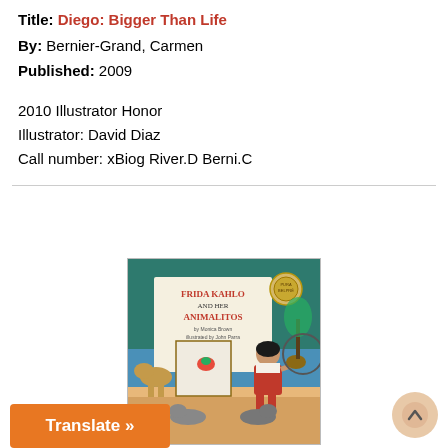Title: Diego: Bigger Than Life
By: Bernier-Grand, Carmen
Published: 2009
2010 Illustrator Honor
Illustrator: David Diaz
Call number: xBiog River.D Berni.C
[Figure (photo): Book cover of 'Frida Kahlo and Her Animalitos' by Monica Brown, illustrated by John Parra, showing a young Frida Kahlo painting at an easel surrounded by animals.]
lo and Her Animalitos